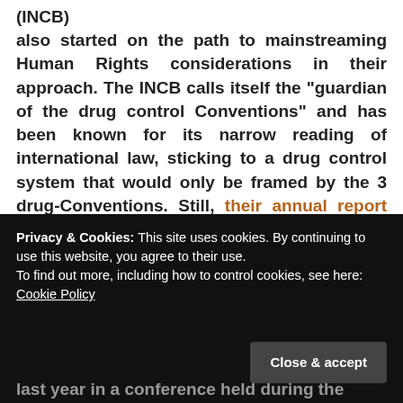(INCB) also started on the path to mainstreaming Human Rights considerations in their approach. The INCB calls itself the “guardian of the drug control Conventions” and has been known for its narrow reading of international law, sticking to a drug control system that would only be framed by the 3 drug-Conventions. Still, their annual report presented the 1st of March, ahead of the
Privacy & Cookies: This site uses cookies. By continuing to use this website, you agree to their use.
To find out more, including how to control cookies, see here: Cookie Policy
last year in a conference held during the